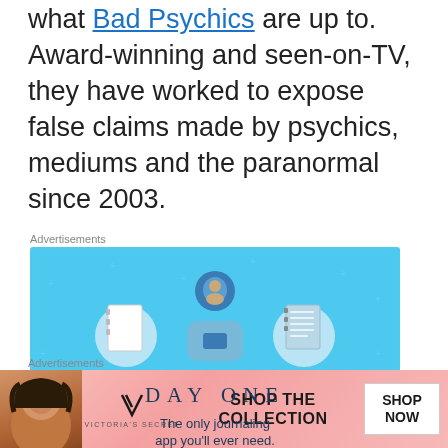what Bad Psychics are up to. Award-winning and seen-on-TV, they have worked to expose false claims made by psychics, mediums and the paranormal since 2003.
Advertisements
[Figure (illustration): Day One journaling app advertisement with blue background, illustrated person holding phone flanked by notebook icons, text 'DAY ONE - The only journaling app you'll ever need.']
Advertisements
[Figure (illustration): Victoria's Secret advertisement showing woman, VS logo, 'SHOP THE COLLECTION' text, and 'SHOP NOW' button]